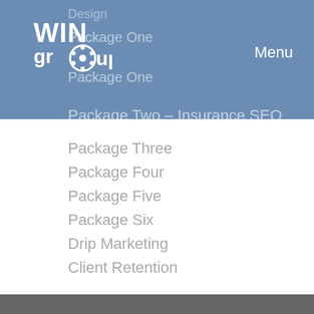[Figure (logo): WIN Group logo - white text on blue background, circular design]
Menu
Design
Package One
Package Two – Insurance SEO
Package Three
Package Four
Package Five
Package Six
Drip Marketing
Client Retention
Request Consultation